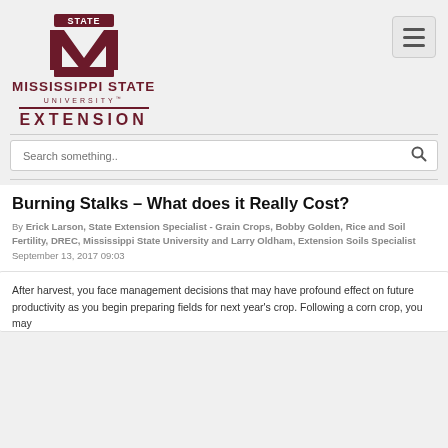[Figure (logo): Mississippi State University Extension logo with maroon M and EXTENSION text]
Burning Stalks – What does it Really Cost?
By Erick Larson, State Extension Specialist - Grain Crops, Bobby Golden, Rice and Soil Fertility, DREC, Mississippi State University and Larry Oldham, Extension Soils Specialist
September 13, 2017 09:03
After harvest, you face management decisions that may have profound effect on future productivity as you begin preparing fields for next year's crop. Following a corn crop, you may